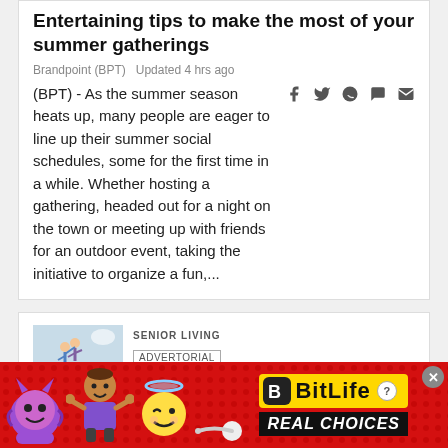Entertaining tips to make the most of your summer gatherings
Brandpoint (BPT)  Updated 4 hrs ago
(BPT) - As the summer season heats up, many people are eager to line up their summer social schedules, some for the first time in a while. Whether hosting a gathering, headed out for a night on the town or meeting up with friends for an outdoor event, taking the initiative to organize a fun,...
SENIOR LIVING
ADVERTORIAL
Enjoy summer celebrations without making a dent in your wallet
[Figure (illustration): Advertisement banner for BitLife mobile game with emoji characters (devil, person shrugging, winking angel) and text 'REAL CHOICES' on red background]